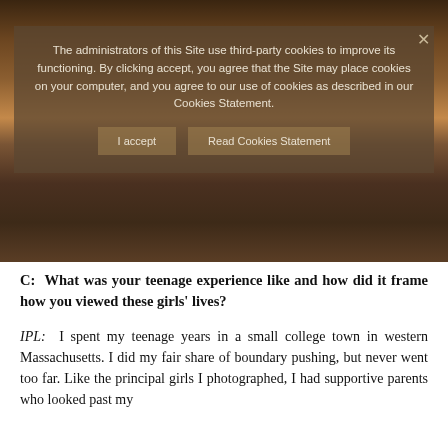[Figure (photo): Photo of two young women sitting in what appears to be a restaurant booth with wooden paneling. One wears a white t-shirt, the other wears a floral dress with a dark jacket. A cookie consent overlay dialog is visible over the top portion of the image with text about third-party cookies and two buttons: 'I accept' and 'Read Cookies Statement', plus a close X button.]
C: What was your teenage experience like and how did it frame how you viewed these girls' lives?
IPL: I spent my teenage years in a small college town in western Massachusetts. I did my fair share of boundary pushing, but never went too far. Like the principal girls I photographed, I had supportive parents who looked past my